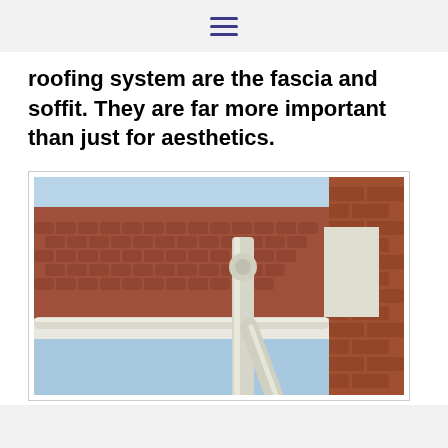☰
roofing system are the fascia and soffit. They are far more important than just for aesthetics.
[Figure (photo): Close-up photograph of a house roofline showing white guttering, downpipe, fascia and soffit boards against a red brick wall and terracotta roof tiles, with a blue sky in the background.]